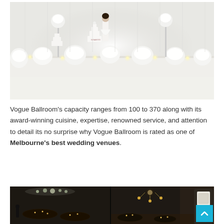[Figure (photo): A luxurious all-white wedding reception setup with a long head table covered in white floral arrangements, tall vases, a tiered wedding cake, candles, and a woman in a white wedding dress standing behind the table. White drapery forms the backdrop.]
Vogue Ballroom's capacity ranges from 100 to 370 along with its award-winning cuisine, expertise, renowned service, and attention to detail its no surprise why Vogue Ballroom is rated as one of Melbourne's best wedding venues.
[Figure (photo): A dark-themed wedding reception venue with black tables, candles, chandeliers, and dramatic lighting. Two side-by-side images showing different angles of the same venue.]